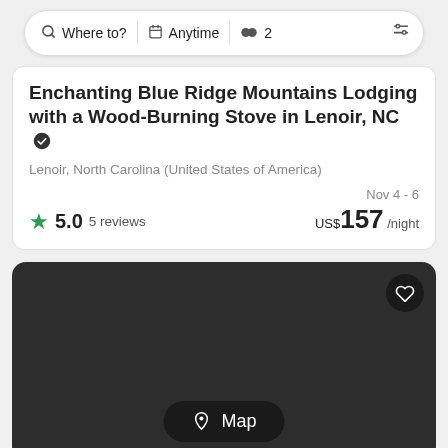Where to? | Anytime | 2
Enchanting Blue Ridge Mountains Lodging with a Wood-Burning Stove in Lenoir, NC
Lenoir, North Carolina (United States of America)
Nov 4 - 6
5.0  5 reviews  US$157 /night
[Figure (map): Dark map area with a heart/save button in upper right and a Map toggle button at the bottom center]